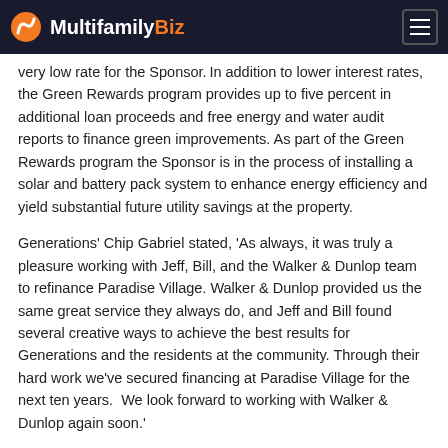MultifamilyBiz
very low rate for the Sponsor. In addition to lower interest rates, the Green Rewards program provides up to five percent in additional loan proceeds and free energy and water audit reports to finance green improvements. As part of the Green Rewards program the Sponsor is in the process of installing a solar and battery pack system to enhance energy efficiency and yield substantial future utility savings at the property.
Generations' Chip Gabriel stated, 'As always, it was truly a pleasure working with Jeff, Bill, and the Walker & Dunlop team to refinance Paradise Village. Walker & Dunlop provided us the same great service they always do, and Jeff and Bill found several creative ways to achieve the best results for Generations and the residents at the community. Through their hard work we've secured financing at Paradise Village for the next ten years.  We look forward to working with Walker & Dunlop again soon.'
Built in 2009, Paradise Village consists of seven four-story buildings